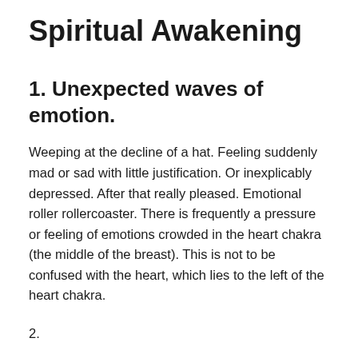Spiritual Awakening
1. Unexpected waves of emotion.
Weeping at the decline of a hat. Feeling suddenly mad or sad with little justification. Or inexplicably depressed. After that really pleased. Emotional roller rollercoaster. There is frequently a pressure or feeling of emotions crowded in the heart chakra (the middle of the breast). This is not to be confused with the heart, which lies to the left of the heart chakra.
2. ...